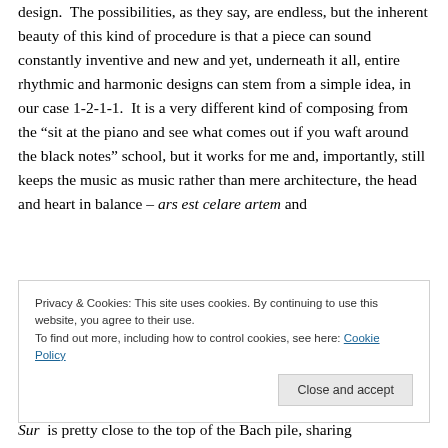design.  The possibilities, as they say, are endless, but the inherent beauty of this kind of procedure is that a piece can sound constantly inventive and new and yet, underneath it all, entire rhythmic and harmonic designs can stem from a simple idea, in our case 1-2-1-1.  It is a very different kind of composing from the “sit at the piano and see what comes out if you waft around the black notes” school, but it works for me and, importantly, still keeps the music as music rather than mere architecture, the head and heart in balance – ars est celare artem and
Privacy & Cookies: This site uses cookies. By continuing to use this website, you agree to their use.
To find out more, including how to control cookies, see here: Cookie Policy
Close and accept
Sur  is pretty close to the top of the Bach pile, sharing